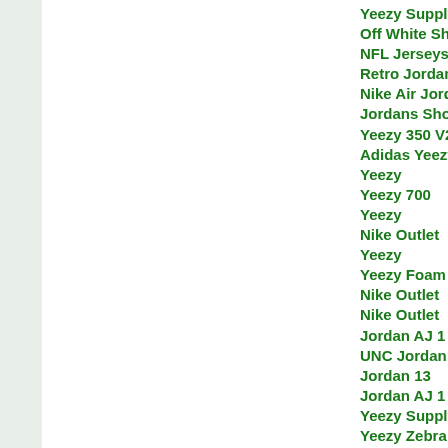Yeezy Supply
Off White Shoes
NFL Jerseys
Retro Jordans
Nike Air Jordan
Jordans Shoes
Yeezy 350 V2
Adidas Yeezy
Yeezy
Yeezy 700
Yeezy
Nike Outlet
Yeezy
Yeezy Foam Runner
Nike Outlet
Nike Outlet
Jordan AJ 1
UNC Jordan 1
Jordan 13
Jordan AJ 1
Yeezy Supply
Yeezy Zebra
Jordan 5
Jordan 1 Low
Air Jordans